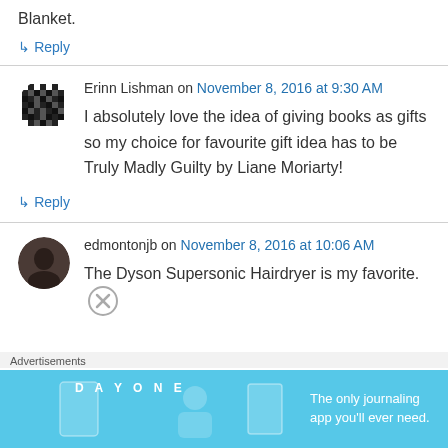Blanket.
↳ Reply
Erinn Lishman on November 8, 2016 at 9:30 AM
I absolutely love the idea of giving books as gifts so my choice for favourite gift idea has to be Truly Madly Guilty by Liane Moriarty!
↳ Reply
edmontonjb on November 8, 2016 at 10:06 AM
The Dyson Supersonic Hairdryer is my favorite.
Advertisements
[Figure (screenshot): DAY ONE - The only journaling app you'll ever need. Blue banner advertisement.]